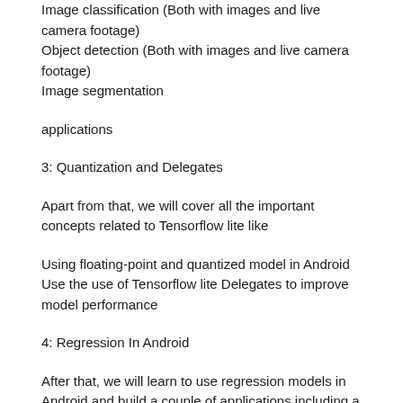Image classification (Both with images and live camera footage)
Object detection (Both with images and live camera footage)
Image segmentation
applications
3: Quantization and Delegates
Apart from that, we will cover all the important concepts related to Tensorflow lite like
Using floating-point and quantized model in Android
Use the use of Tensorflow lite Delegates to improve model performance
4: Regression In Android
After that, we will learn to use regression models in Android and build a couple of applications including a
Fuel Efficiency Predictor for Vehicles.
5: Firebase ML Kit